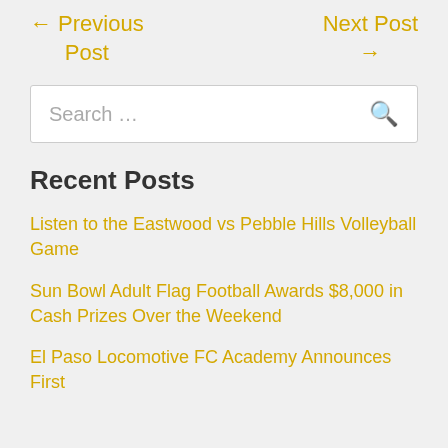← Previous Post
Next Post →
Search …
Recent Posts
Listen to the Eastwood vs Pebble Hills Volleyball Game
Sun Bowl Adult Flag Football Awards $8,000 in Cash Prizes Over the Weekend
El Paso Locomotive FC Academy Announces First